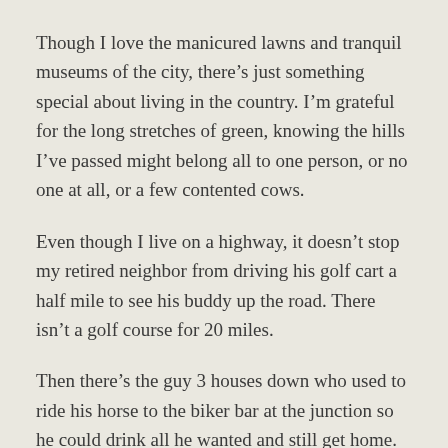Though I love the manicured lawns and tranquil museums of the city, there’s just something special about living in the country. I’m grateful for the long stretches of green, knowing the hills I’ve passed might belong all to one person, or no one at all, or a few contented cows.
Even though I live on a highway, it doesn’t stop my retired neighbor from driving his golf cart a half mile to see his buddy up the road. There isn’t a golf course for 20 miles.
Then there’s the guy 3 houses down who used to ride his horse to the biker bar at the junction so he could drink all he wanted and still get home. The horse knew the way.
One morning I was about to pull out of the driveway when I saw my father parked across the road in his van. He was sitting in front of the little white church where maybe 4 cars arrive each Sunday. The bell still rings at 10am that day. Dad wasn’t